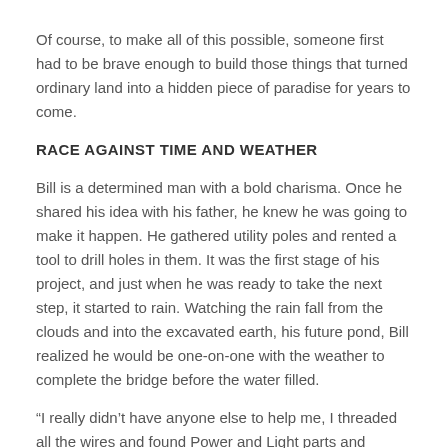Of course, to make all of this possible, someone first had to be brave enough to build those things that turned ordinary land into a hidden piece of paradise for years to come.
RACE AGAINST TIME AND WEATHER
Bill is a determined man with a bold charisma. Once he shared his idea with his father, he knew he was going to make it happen. He gathered utility poles and rented a tool to drill holes in them. It was the first stage of his project, and just when he was ready to take the next step, it started to rain. Watching the rain fall from the clouds and into the excavated earth, his future pond, Bill realized he would be one-on-one with the weather to complete the bridge before the water filled.
“I really didn’t have anyone else to help me, I threaded all the wires and found Power and Light parts and pieces that I could use, it was all there right under my nose and, it is the truth.”